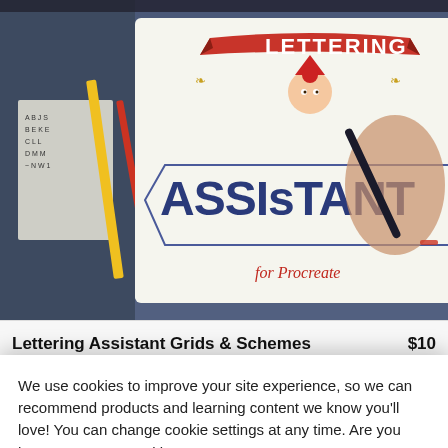[Figure (photo): Screenshot of a tablet showing the 'Lettering Assistant for Procreate' product logo and branding, with a hand holding a stylus. Colorful lettering art supplies visible around the tablet.]
Lettering Assistant Grids & Schemes
$10
We use cookies to improve your site experience, so we can recommend products and learning content we know you'll love! You can change cookie settings at any time. Are you happy to accept cookies?
Manage Cookie Preferences
Yes I'm Happy
Add to Cart